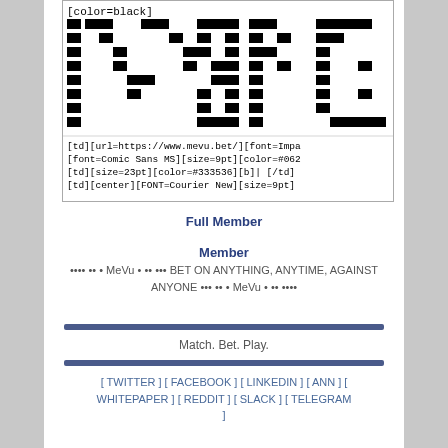[Figure (screenshot): Pixel art logo with BBcode color tag '[color=black]' visible at top left, showing large block letters in black pixel squares. Below the logo are lines of BBcode markup text including [td][url=https://www.mevu.bet/][font=Impa, [font=Comic Sans MS][size=9pt][color=#062, [td][size=23pt][color=#333536][b]| [/td], [td][center][FONT=Courier New][size=9pt]]
Full Member
Member
•••• •• • MeVu • •• ••• BET ON ANYTHING, ANYTIME, AGAINST ANYONE ••• •• • MeVu • •• ••••
Match. Bet. Play.
[ TWITTER ] [ FACEBOOK ] [ LINKEDIN ] [ ANN ] [ WHITEPAPER ] [ REDDIT ] [ SLACK ] [ TELEGRAM ]